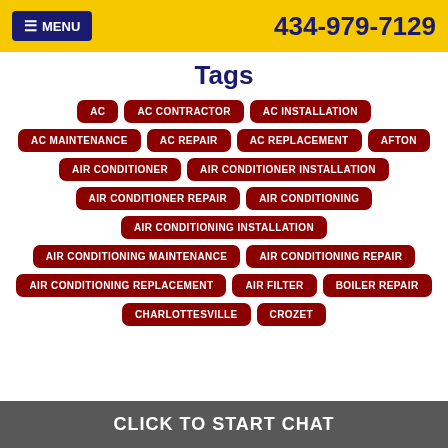MENU | 434-979-7129
Tags
AC
AC CONTRACTOR
AC INSTALLATION
AC MAINTENANCE
AC REPAIR
AC REPLACEMENT
AFTON
AIR CONDITIONER
AIR CONDITIONER INSTALLATION
AIR CONDITIONER REPAIR
AIR CONDITIONING
AIR CONDITIONING INSTALLATION
AIR CONDITIONING MAINTENANCE
AIR CONDITIONING REPAIR
AIR CONDITIONING REPLACEMENT
AIR FILTER
BOILER REPAIR
CHARLOTTESVILLE
CROZET
CLICK TO START CHAT